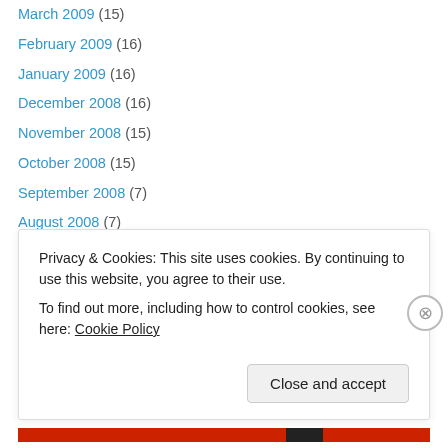March 2009 (15)
February 2009 (16)
January 2009 (16)
December 2008 (16)
November 2008 (15)
October 2008 (15)
September 2008 (7)
August 2008 (7)
July 2008 (11)
June 2008 (7)
May 2008 (5)
April 2008 (1)
Advertisements
Privacy & Cookies: This site uses cookies. By continuing to use this website, you agree to their use. To find out more, including how to control cookies, see here: Cookie Policy
Close and accept